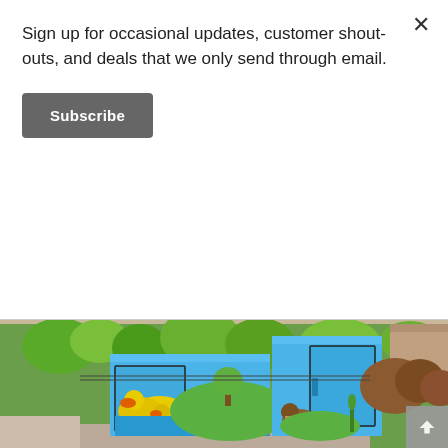Sign up for occasional updates, customer shout-outs, and deals that we only send through email.
Subscribe
[Figure (photo): Outdoor photograph of two utility/traffic control boxes painted with colorful artwork on a blue background depicting yellow ducks swimming, a green landscape, trees, and a cartoon beaver, situated on a grass lawn with trees and buildings in the background.]